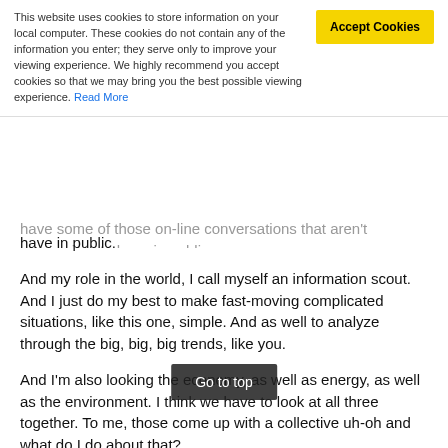This website uses cookies to store information on your local computer. These cookies do not contain any of the information you enter; they serve only to improve your viewing experience. We highly recommend you accept cookies so that we may bring you the best possible viewing experience. Read More
have some of those on-line conversations that aren't appropriate to have in public.
And my role in the world, I call myself an information scout. And I just do my best to make fast-moving complicated situations, like this one, simple. And as well to analyze through the big, big, big trends, like you.
And I'm also looking the economy, as well as energy, as well as the environment. I think we have to look at all three together. To me, those come up with a collective uh-oh and what do I do about that?
And then most of the work after the problem definition is done is around how do you prosper in this environment? What kind of changes can you make in your life, should you make? Across all sorts of dimensions including your [food] you eat, where it's grown, your emotional health a[nd] [as] well as your social